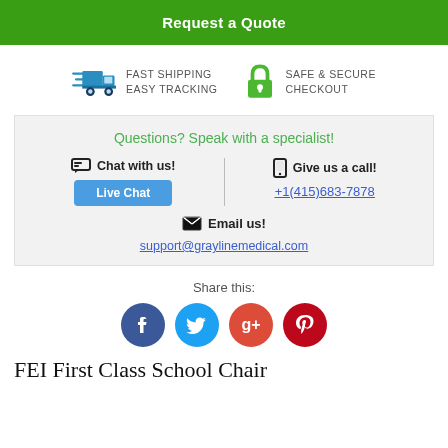Request a Quote
[Figure (infographic): Fast Shipping Easy Tracking truck icon and Safe & Secure Checkout lock icon with text labels]
Questions? Speak with a specialist!
Chat with us! Live Chat | Give us a call! +1(415)683-7878
Email us! support@graylinemedical.com
Share this:
[Figure (infographic): Social media sharing icons: Facebook (blue), Twitter (light blue), Google+ (red-orange), Pinterest (dark red)]
FEI First Class School Chair